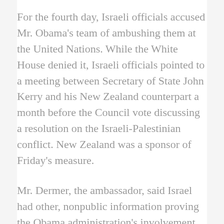For the fourth day, Israeli officials accused Mr. Obama's team of ambushing them at the United Nations. While the White House denied it, Israeli officials pointed to a meeting between Secretary of State John Kerry and his New Zealand counterpart a month before the Council vote discussing a resolution on the Israeli-Palestinian conflict. New Zealand was a sponsor of Friday's measure.
Mr. Dermer, the ambassador, said Israel had other, nonpublic information proving the Obama administration's involvement but provided no evidence and would not elaborate beyond saying it would be provided to Mr. Trump's team when he